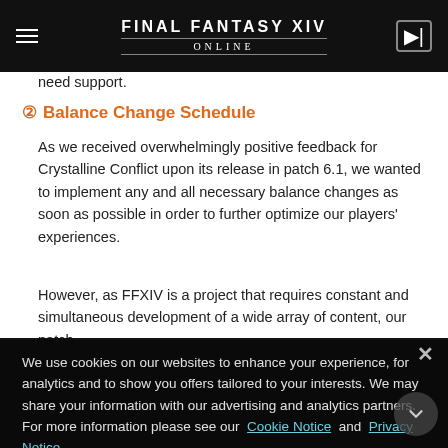FINAL FANTASY XIV ONLINE
need support.
③ Balance Change Schedule
As we received overwhelmingly positive feedback for Crystalline Conflict upon its release in patch 6.1, we wanted to implement any and all necessary balance changes as soon as possible in order to further optimize our players' experiences.
However, as FFXIV is a project that requires constant and simultaneous development of a wide array of content, our patch
release schedule is both incredibly detailed and decided far in advance. Even if we had wanted to, we received patch 6.11 data far too late in the development cycle to bring their ideas to reality. Despite this, we decided to do our best, as our team was determined to wire to deliver the most comprehensive update possible within the given time restrictions.
We use cookies on our websites to enhance your experience, for analytics and to show you offers tailored to your interests. We may share your information with our advertising and analytics partners. For more information please see our Cookie Notice and Privacy Notice.
Accordingly, the balance changes made to PvP job actions in patch 6.11a were based on data and player feedback received
Okay